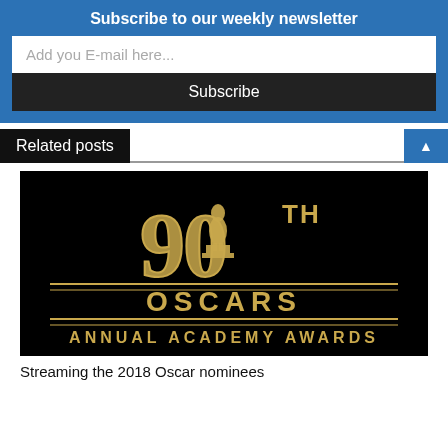Subscribe to our weekly newsletter
Add you E-mail here...
Subscribe
Related posts
[Figure (photo): 90th Oscars Annual Academy Awards logo on black background with gold text and Oscar statuette silhouette]
Streaming the 2018 Oscar nominees